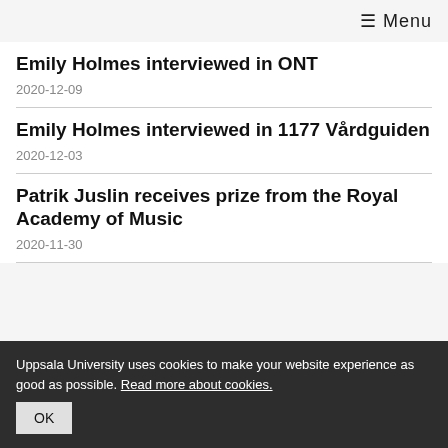≡ Menu
Emily Holmes interviewed in ONT
2020-12-09
Emily Holmes interviewed in 1177 Vårdguiden
2020-12-03
Patrik Juslin receives prize from the Royal Academy of Music
2020-11-30
Uppsala University uses cookies to make your website experience as good as possible. Read more about cookies.